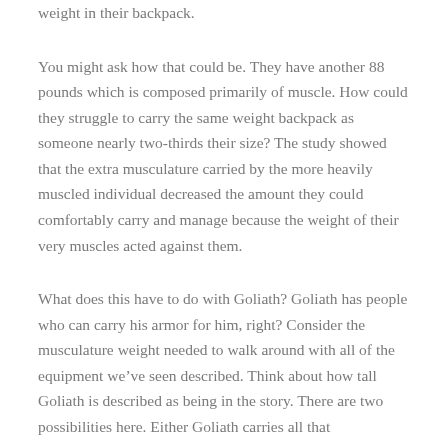weight in their backpack.
You might ask how that could be. They have another 88 pounds which is composed primarily of muscle. How could they struggle to carry the same weight backpack as someone nearly two-thirds their size? The study showed that the extra musculature carried by the more heavily muscled individual decreased the amount they could comfortably carry and manage because the weight of their very muscles acted against them.
What does this have to do with Goliath? Goliath has people who can carry his armor for him, right? Consider the musculature weight needed to walk around with all of the equipment we've seen described. Think about how tall Goliath is described as being in the story. There are two possibilities here. Either Goliath carries all that